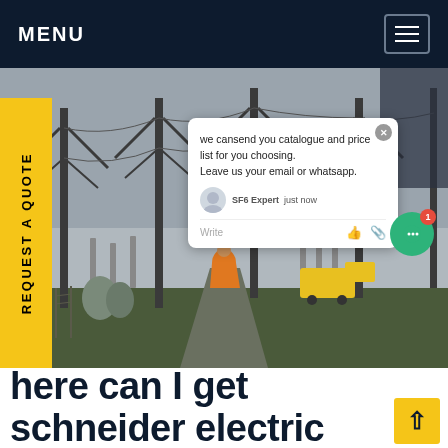MENU
[Figure (photo): Electrical substation with tall pylons and transmission lines; a worker in an orange jacket walks down the center path; a yellow truck is visible in the background under an overcast sky.]
REQUEST A QUOTE
we cansend you catalogue and price list for you choosing. Leave us your email or whatsapp.
SF6 Expert  just now
Write
here can I get schneider electric sf6 United Kingdom